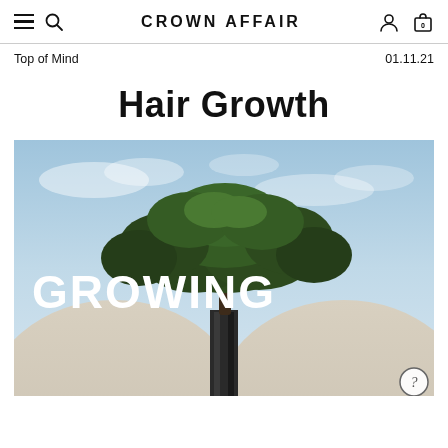CROWN AFFAIR
Top of Mind	01.11.21
Hair Growth
[Figure (photo): Outdoor photograph showing large sculptural white dome-like forms with a lush green tree with sprawling canopy rising above them against a light blue sky. White bold text overlay reads 'GROWING' on the left side of the image.]